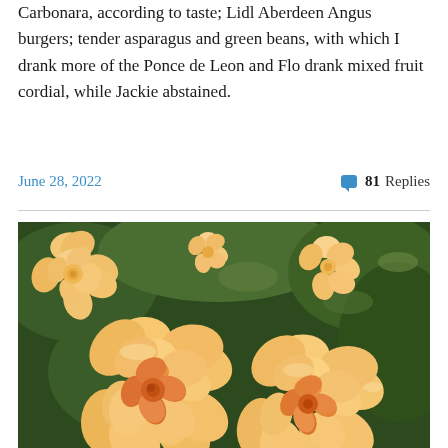This evening we dined on Jeanie's pasta Bolognese or Carbonara, according to taste; Lidl Aberdeen Angus burgers; tender asparagus and green beans, with which I drank more of the Ponce de Leon and Flo drank mixed fruit cordial, while Jackie abstained.
June 28, 2022    💬 81 Replies
[Figure (photo): Close-up photograph of peach/apricot-colored roses in full bloom against a green leafy background]